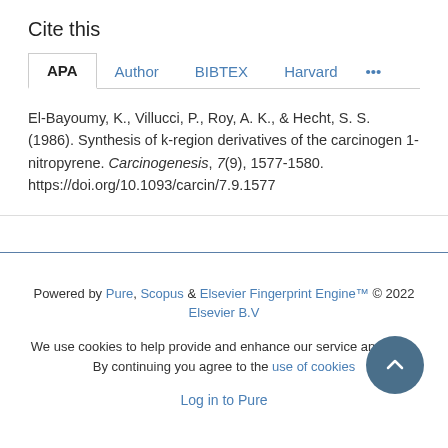Cite this
APA  Author  BIBTEX  Harvard  ...
El-Bayoumy, K., Villucci, P., Roy, A. K., & Hecht, S. S. (1986). Synthesis of k-region derivatives of the carcinogen 1-nitropyrene. Carcinogenesis, 7(9), 1577-1580. https://doi.org/10.1093/carcin/7.9.1577
Powered by Pure, Scopus & Elsevier Fingerprint Engine™ © 2022 Elsevier B.V
We use cookies to help provide and enhance our service and tailor. By continuing you agree to the use of cookies
Log in to Pure